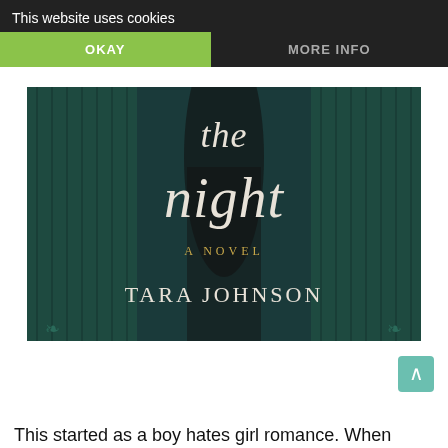This website uses cookies
OKAY
MORE INFO
[Figure (photo): Book cover for a novel showing title text 'the night', subtitle 'A NOVEL', and author name 'TARA JOHNSON' over a dark teal textured background with a figure in a dark dress.]
This started as a boy hates girl romance. When